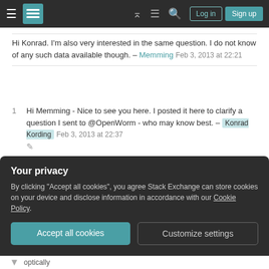Stack Exchange navigation bar with hamburger menu, logo, help, chat, search, Log in, Sign up
Hi Konrad. I'm also very interested in the same question. I do not know of any such data available though. – Memming Feb 3, 2013 at 22:21
1 Hi Memming - Nice to see you here. I posted it here to clarify a question I sent to @OpenWorm - who may know best. – Konrad Kording Feb 3, 2013 at 22:37
Add a comment
Sorted by:
Your privacy
By clicking "Accept all cookies", you agree Stack Exchange can store cookies on your device and disclose information in accordance with our Cookie Policy.
Accept all cookies
Customize settings